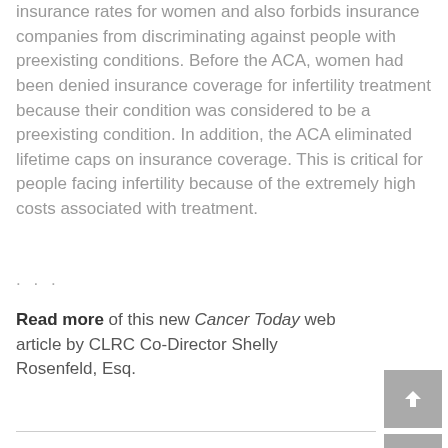insurance rates for women and also forbids insurance companies from discriminating against people with preexisting conditions. Before the ACA, women had been denied insurance coverage for infertility treatment because their condition was considered to be a preexisting condition. In addition, the ACA eliminated lifetime caps on insurance coverage. This is critical for people facing infertility because of the extremely high costs associated with treatment.
...
Read more of this new Cancer Today web article by CLRC Co-Director Shelly Rosenfeld, Esq.